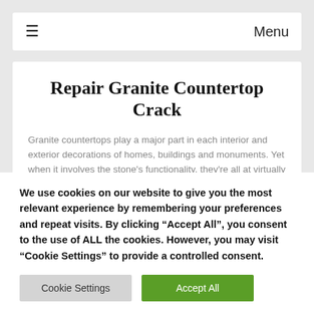Menu
Repair Granite Countertop Crack
Granite countertops play a major part in each interior and exterior decorations of homes, buildings and monuments. Yet when it involves the stone's functionality, they're all at virtually exactly the same degree. Installing granite
We use cookies on our website to give you the most relevant experience by remembering your preferences and repeat visits. By clicking "Accept All", you consent to the use of ALL the cookies. However, you may visit "Cookie Settings" to provide a controlled consent.
Cookie Settings | Accept All